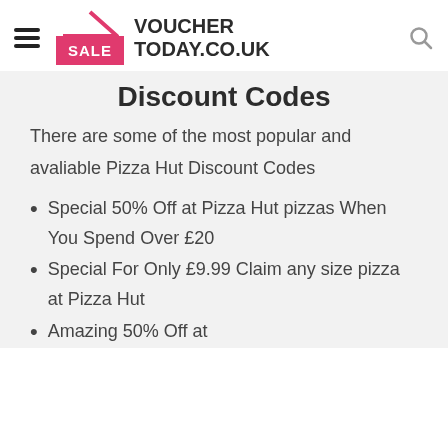VOUCHER TODAY.CO.UK
Discount Codes
There are some of the most popular and avaliable Pizza Hut Discount Codes
Special 50% Off at Pizza Hut pizzas When You Spend Over £20
Special For Only £9.99 Claim any size pizza at Pizza Hut
Amazing 50% Off at